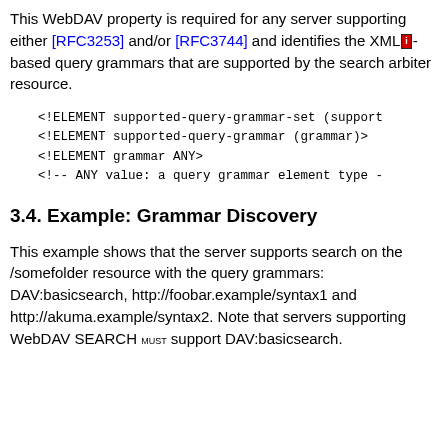This WebDAV property is required for any server supporting either [RFC3253] and/or [RFC3744] and identifies the XML[i]-based query grammars that are supported by the search arbiter resource.
3.4. Example: Grammar Discovery
This example shows that the server supports search on the /somefolder resource with the query grammars: DAV:basicsearch, http://foobar.example/syntax1 and http://akuma.example/syntax2. Note that servers supporting WebDAV SEARCH MUST support DAV:basicsearch.